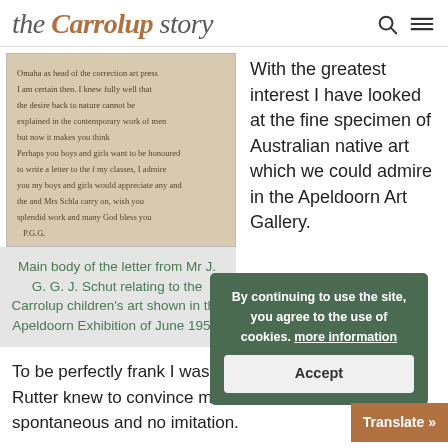the Carrolup story
[Figure (photo): Handwritten letter in cursive script on aged paper, appearing to be a letter from Mr J. G. G. J. Schut relating to the Carrolup children's art shown in the Apeldoorn Exhibition of June 1950.]
Main body of the letter from Mr J. G. G. J. Schut relating to the Carrolup children's art shown in the Apeldoorn Exhibition of June 1950.
With the greatest interest I have looked at the fine specimen of Australian native art which we could admire in the Apeldoorn Art Gallery.
To be perfectly frank I was sceptical at first but Mrs Rutter knew to convince me this work was entirely spontaneous and no imitation.